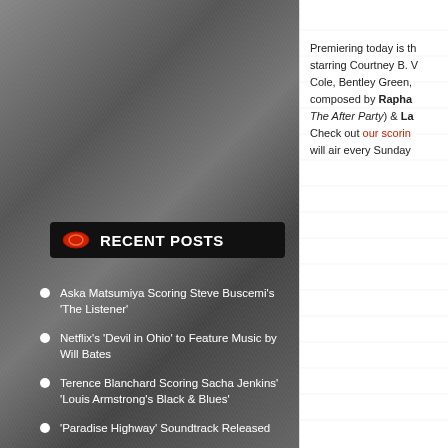RECENT POSTS
Aska Matsumiya Scoring Steve Buscemi's 'The Listener'
Netflix's 'Devil in Ohio' to Feature Music by Will Bates
Terence Blanchard Scoring Sacha Jenkins' 'Louis Armstrong's Black & Blues'
'Paradise Highway' Soundtrack Released
Animal Collective Scoring Elegance Bratton's 'The Inspection'
'Parot' Soundtrack Album Released
Volker Bertelmann (Hauschka) Scoring Gunnar Vikene's 'War Sailor'
Weekly TV Music Roundup (August 21, 2022)
Premiering today is the starring Courtney B. Cole, Bentley Green, composed by Rapha The After Party) & La Check out our scori will air every Sunday